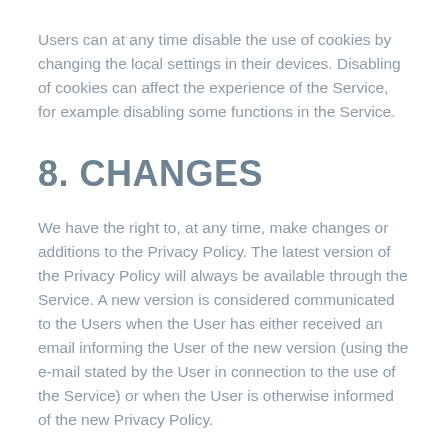Users can at any time disable the use of cookies by changing the local settings in their devices. Disabling of cookies can affect the experience of the Service, for example disabling some functions in the Service.
8. CHANGES
We have the right to, at any time, make changes or additions to the Privacy Policy. The latest version of the Privacy Policy will always be available through the Service. A new version is considered communicated to the Users when the User has either received an email informing the User of the new version (using the e-mail stated by the User in connection to the use of the Service) or when the User is otherwise informed of the new Privacy Policy.
9. CONTACT